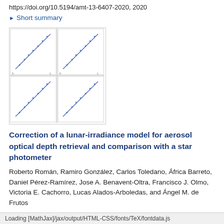https://doi.org/10.5194/amt-13-6407-2020, 2020
▶ Short summary
[Figure (other): Thumbnail image of scatter plots showing aerosol optical depth comparisons, four panel plot with diagonal blue data clusters on white/grey background with axis labels]
Correction of a lunar-irradiance model for aerosol optical depth retrieval and comparison with a star photometer
Roberto Román, Ramiro González, Carlos Toledano, África Barreto, Daniel Pérez-Ramírez, Jose A. Benavent-Oltra, Francisco J. Olmo, Victoria E. Cachorro, Lucas Alados-Arboledas, and Ángel M. de Frutos
Atmos. Meas. Tech., 13, 6293–6310, https://doi.org/10.5194/amt-13-6293-2020, 2020
▶ Short summary
Loading [MathJax]/jax/output/HTML-CSS/fonts/TeX/fontdata.js